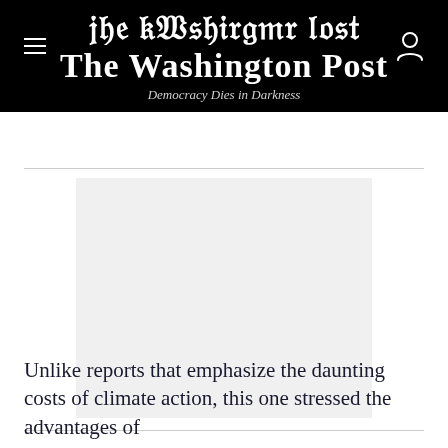The Washington Post
Democracy Dies in Darkness
[Figure (photo): A light gray rectangular image placeholder, representing a photograph related to the article about climate action.]
Unlike reports that emphasize the daunting costs of climate action, this one stressed the advantages of